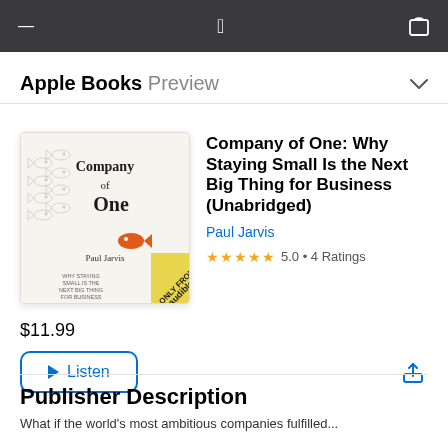Apple Books Preview
[Figure (illustration): Book cover for 'Company of One' by Paul Jarvis, audiobook edition from Audible. Features hand-drawn fish illustrations with one orange fish swimming in the opposite direction. Yellow 'Only from Audible' banner in the corner.]
Company of One: Why Staying Small Is the Next Big Thing for Business (Unabridged)
Paul Jarvis
★★★★★ 5.0 • 4 Ratings
$11.99
▶ Listen
Publisher Description
What if the world's most ambitious companies fulfilled...